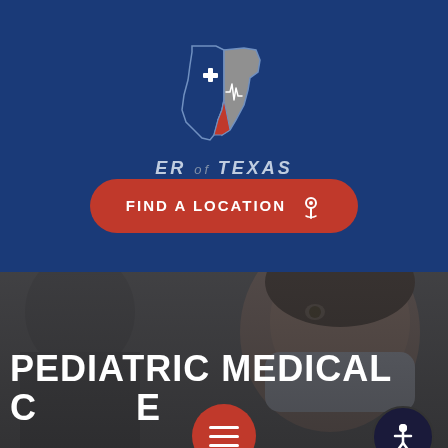[Figure (logo): ER of Texas logo: Texas state shape with blue left half containing a white plus sign, red lower right section with a heartbeat/EKG line, and grey upper right section. Below the shape: 'ER of TEXAS' text.]
FIND A LOCATION
[Figure (photo): Background photo of a child wearing a face mask with a medical professional partially visible on the left. Dark overlay applied.]
PEDIATRIC MEDICAL CARE